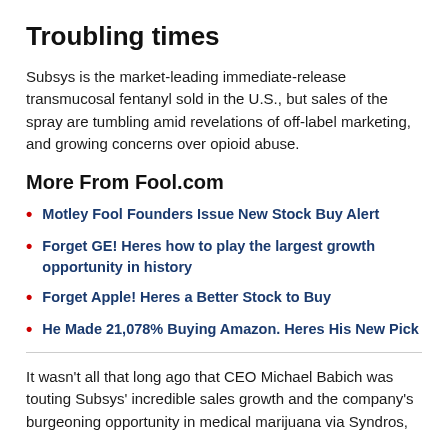Troubling times
Subsys is the market-leading immediate-release transmucosal fentanyl sold in the U.S., but sales of the spray are tumbling amid revelations of off-label marketing, and growing concerns over opioid abuse.
More From Fool.com
Motley Fool Founders Issue New Stock Buy Alert
Forget GE! Heres how to play the largest growth opportunity in history
Forget Apple! Heres a Better Stock to Buy
He Made 21,078% Buying Amazon. Heres His New Pick
It wasn't all that long ago that CEO Michael Babich was touting Subsys' incredible sales growth and the company's burgeoning opportunity in medical marijuana via Syndros,